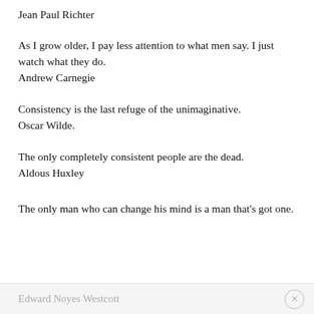Jean Paul Richter
As I grow older, I pay less attention to what men say. I just watch what they do.
Andrew Carnegie
Consistency is the last refuge of the unimaginative.
Oscar Wilde.
The only completely consistent people are the dead.
Aldous Huxley
The only man who can change his mind is a man that's got one.
Edward Noyes Westcott